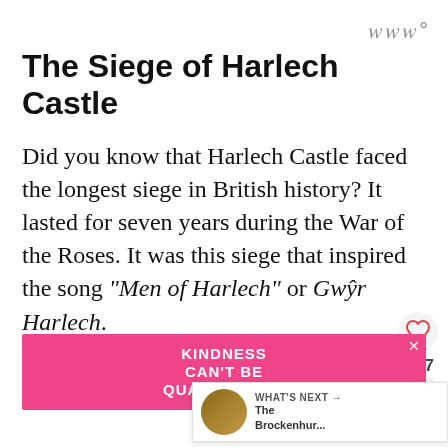www°
The Siege of Harlech Castle
Did you know that Harlech Castle faced the longest siege in British history? It lasted for seven years during the War of the Roses. It was this siege that inspired the song "Men of Harlech" or Gwŷr Harlech.
It acted as a base for Lancastrian forces and here they plotted against their enemies
[Figure (screenshot): WHAT'S NEXT panel showing The Brockenhur... link with castle thumbnail]
[Figure (infographic): Pink advertisement banner reading KINDNESS CAN'T BE QUARANTINED with X close button]
www°